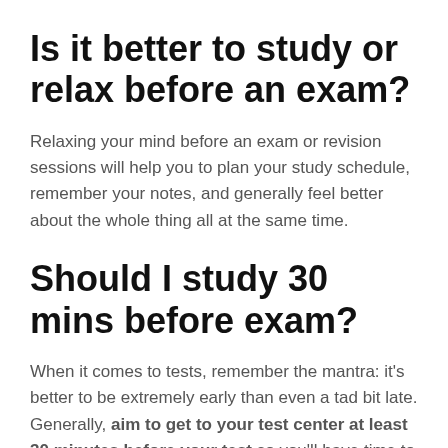Is it better to study or relax before an exam?
Relaxing your mind before an exam or revision sessions will help you to plan your study schedule, remember your notes, and generally feel better about the whole thing all at the same time.
Should I study 30 mins before exam?
When it comes to tests, remember the mantra: it's better to be extremely early than even a tad bit late. Generally, aim to get to your test center at least 30 minutes before your test so you'll have time to check in, get seated, and calm your nerves!